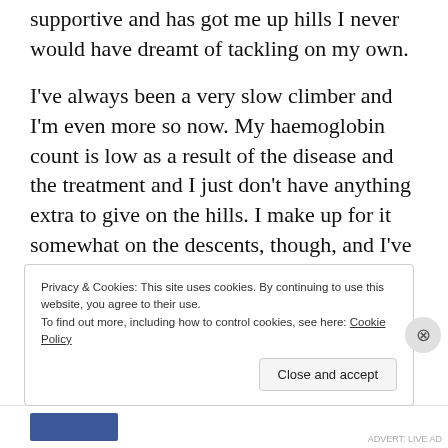supportive and has got me up hills I never would have dreamt of tackling on my own.
I've always been a very slow climber and I'm even more so now. My haemoglobin count is low as a result of the disease and the treatment and I just don't have anything extra to give on the hills. I make up for it somewhat on the descents, though, and I've never ridden faster than I have in Mallorca with the folks at Mellow Jersey!
Privacy & Cookies: This site uses cookies. By continuing to use this website, you agree to their use.
To find out more, including how to control cookies, see here: Cookie Policy